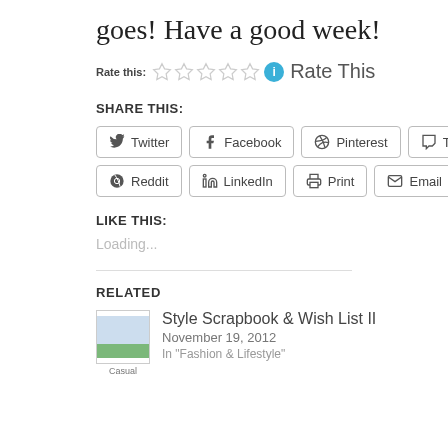goes! Have a good week!
Rate this: ☆☆☆☆☆ ℹ Rate This
SHARE THIS:
Twitter  Facebook  Pinterest  Tumblr
Reddit  LinkedIn  Print  Email
LIKE THIS:
Loading...
RELATED
Style Scrapbook & Wish List II
November 19, 2012
In "Fashion & Lifestyle"